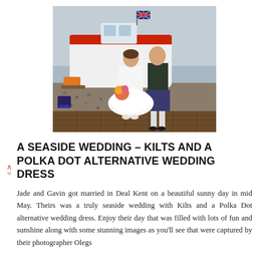[Figure (photo): Wedding photo of a couple standing on a wooden dock near a red and white boat on a beach. The bride wears a short white tulle polka dot dress and holds a bouquet. The groom wears a kilt. A British flag is visible on the boat. The setting is a pebble beach with a grey sky.]
A SEASIDE WEDDING – KILTS AND A POLKA DOT ALTERNATIVE WEDDING DRESS
Jade and Gavin got married in Deal Kent on a beautiful sunny day in mid May. Theirs was a truly seaside wedding with Kilts and a Polka Dot alternative wedding dress. Enjoy their day that was filled with lots of fun and sunshine along with some stunning images as you'll see that were captured by their photographer Olegs